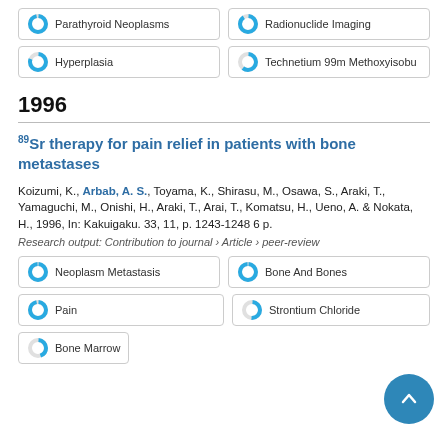Parathyroid Neoplasms
Radionuclide Imaging
Hyperplasia
Technetium 99m Methoxyisobu
1996
89Sr therapy for pain relief in patients with bone metastases
Koizumi, K., Arbab, A. S., Toyama, K., Shirasu, M., Osawa, S., Araki, T., Yamaguchi, M., Onishi, H., Araki, T., Arai, T., Komatsu, H., Ueno, A. & Nokata, H., 1996, In: Kakuigaku. 33, 11, p. 1243-1248 6 p.
Research output: Contribution to journal › Article › peer-review
Neoplasm Metastasis
Bone And Bones
Pain
Strontium Chloride
Bone Marrow